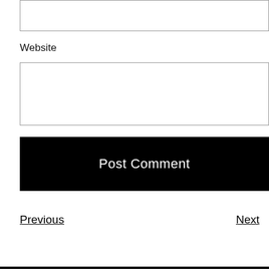[Figure (screenshot): Empty text input box at top of page]
Website
[Figure (screenshot): Empty text input box for website URL]
Post Comment
Previous
Next